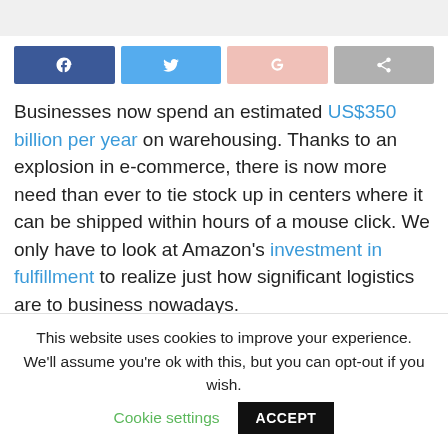[Figure (other): Social share buttons: Facebook, Twitter, Google+, Share]
Businesses now spend an estimated US$350 billion per year on warehousing. Thanks to an explosion in e-commerce, there is now more need than ever to tie stock up in centers where it can be shipped within hours of a mouse click. We only have to look at Amazon’s investment in fulfillment to realize just how significant logistics are to business nowadays.
Warehouses are crucial breakpoints in the supply
This website uses cookies to improve your experience. We’ll assume you’re ok with this, but you can opt-out if you wish. Cookie settings ACCEPT